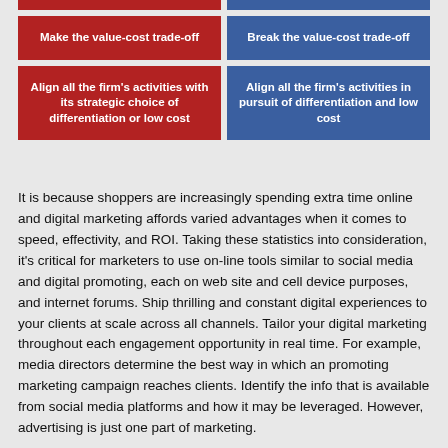[Figure (infographic): Two-column comparison table with red (left) and blue (right) colored cells. Top row: thin color stripes. Second row: 'Make the value-cost trade-off' (red) vs 'Break the value-cost trade-off' (blue). Third row: 'Align all the firm's activities with its strategic choice of differentiation or low cost' (red) vs 'Align all the firm's activities in pursuit of differentiation and low cost' (blue).]
It is because shoppers are increasingly spending extra time online and digital marketing affords varied advantages when it comes to speed, effectivity, and ROI. Taking these statistics into consideration, it's critical for marketers to use on-line tools similar to social media and digital promoting, each on web site and cell device purposes, and internet forums. Ship thrilling and constant digital experiences to your clients at scale across all channels. Tailor your digital marketing throughout each engagement opportunity in real time. For example, media directors determine the best way in which an promoting marketing campaign reaches clients. Identify the info that is available from social media platforms and how it may be leveraged. However, advertising is just one part of marketing.